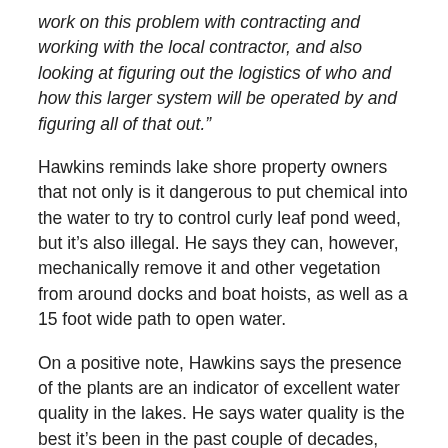work on this problem with contracting and working with the local contractor, and also looking at figuring out the logistics of who and how this larger system will be operated by and figuring all of that out."
Hawkins reminds lake shore property owners that not only is it dangerous to put chemical into the water to try to control curly leaf pond weed, but it's also illegal. He says they can, however, mechanically remove it and other vegetation from around docks and boat hoists, as well as a 15 foot wide path to open water.
On a positive note, Hawkins says the presence of the plants are an indicator of excellent water quality in the lakes. He says water quality is the best it's been in the past couple of decades, based on monitoring results.